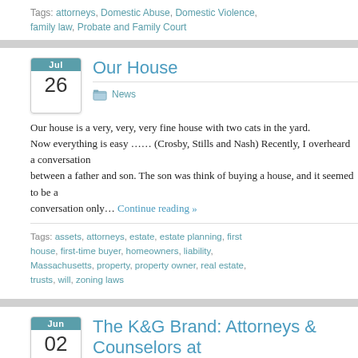Tags: attorneys, Domestic Abuse, Domestic Violence, family law, Probate and Family Court
Our House
News
Our house is a very, very, very fine house with two cats in the yard. Now everything is easy …… (Crosby, Stills and Nash) Recently, I overheard a conversation between a father and son. The son was think of buying a house, and it seemed to be a conversation only… Continue reading »
Tags: assets, attorneys, estate, estate planning, first house, first-time buyer, homeowners, liability, Massachusetts, property, property owner, real estate, trusts, will, zoning laws
The K&G Brand: Attorneys & Counselors at
Newsletters